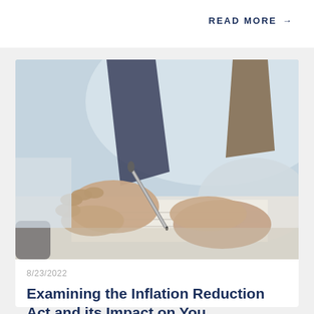READ MORE →
[Figure (photo): Close-up of a businessman's hands signing documents with a pen, wearing a suit with tie visible in background]
8/23/2022
Examining the Inflation Reduction Act and its Impact on You